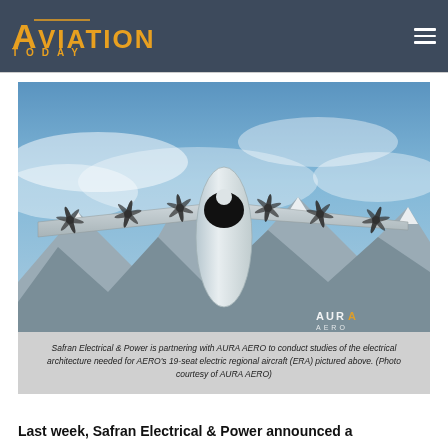AVIATION TODAY
[Figure (photo): Aerial rendering of AURA AERO 19-seat electric regional aircraft (ERA) flying above snow-capped mountains. The aircraft features a wide wing with multiple propellers and a large fuselage with a black-banded nose cone.]
Safran Electrical & Power is partnering with AURA AERO to conduct studies of the electrical architecture needed for AERO's 19-seat electric regional aircraft (ERA) pictured above. (Photo courtesy of AURA AERO)
Last week, Safran Electrical & Power announced a